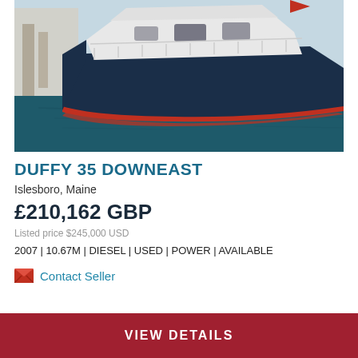[Figure (photo): Photograph of a dark navy blue boat with white cabin and red stripe along the hull, moored at a dock, viewed from the side/bow angle. Green water visible around the boat.]
DUFFY 35 DOWNEAST
Islesboro, Maine
£210,162 GBP
Listed price $245,000 USD
2007 | 10.67M | DIESEL | USED | POWER | AVAILABLE
Contact Seller
VIEW DETAILS